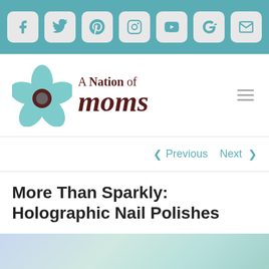[Figure (screenshot): Social media icon bar with Facebook, Twitter, Pinterest, Instagram, YouTube, Google+, and Email icons on teal background]
[Figure (logo): A Nation of Moms logo with teal flower and dark red serif text]
< Previous   Next >
More Than Sparkly: Holographic Nail Polishes
[Figure (photo): Partial photo of holographic nail polish with light blue/teal gradient colors]